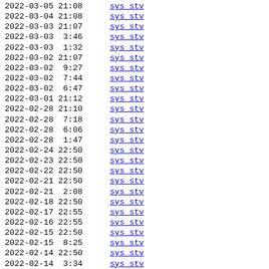2022-03-05 21:08 sys stv
2022-03-04 21:08 sys stv
2022-03-03 21:07 sys stv
2022-03-03  3:46 sys stv
2022-03-03  1:32 sys stv
2022-03-02 21:07 sys stv
2022-03-02  9:27 sys stv
2022-03-02  7:44 sys stv
2022-03-02  6:47 sys stv
2022-03-01 21:12 sys stv
2022-02-28 21:10 sys stv
2022-02-28  7:18 sys stv
2022-02-28  6:06 sys stv
2022-02-28  1:47 sys stv
2022-02-24 22:50 sys stv
2022-02-23 22:50 sys stv
2022-02-22 22:50 sys stv
2022-02-21 22:50 sys stv
2022-02-21  2:08 sys stv
2022-02-18 22:50 sys stv
2022-02-17 22:55 sys stv
2022-02-16 22:55 sys stv
2022-02-15 22:50 sys stv
2022-02-15  8:25 sys stv
2022-02-14 22:50 sys stv
2022-02-14  3:34 sys stv
2022-02-13 22:50 sys stv
2022-02-12 22:50 sys stv
2022-02-11 22:50 sys stv
2022-02-11  9:25 sys stv